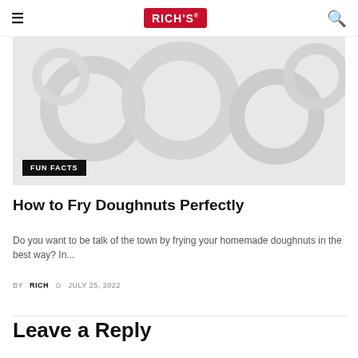RICH'S (logo) — navigation bar with hamburger menu and search icon
[Figure (photo): Hero image with light grey background suggesting doughnuts, with a black 'FUN FACTS' badge overlay at bottom left]
How to Fry Doughnuts Perfectly
Do you want to be talk of the town by frying your homemade doughnuts in the best way? In...
BY RICH  © JULY 25, 2022
Leave a Reply